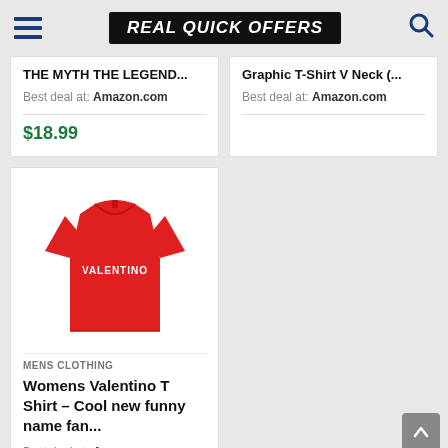REAL QUICK OFFERS
THE MYTH THE LEGEND...
Best deal at: Amazon.com
$18.99
Graphic T-Shirt V Neck (...
Best deal at: Amazon.com
[Figure (photo): Red Valentino women's t-shirt with VALENTINO text printed on the front]
MENS CLOTHING
Womens Valentino T Shirt – Cool new funny name fan...
Best deal at: Amazon.com